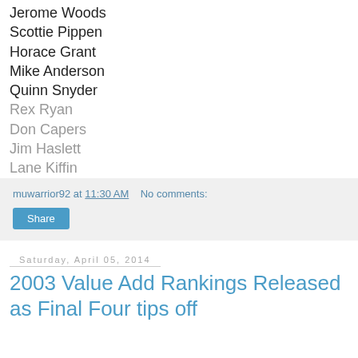Jerome Woods
Scottie Pippen
Horace Grant
Mike Anderson
Quinn Snyder
Rex Ryan
Don Capers
Jim Haslett
Lane Kiffin
muwarrior92 at 11:30 AM   No comments:
Share
Saturday, April 05, 2014
2003 Value Add Rankings Released as Final Four tips off